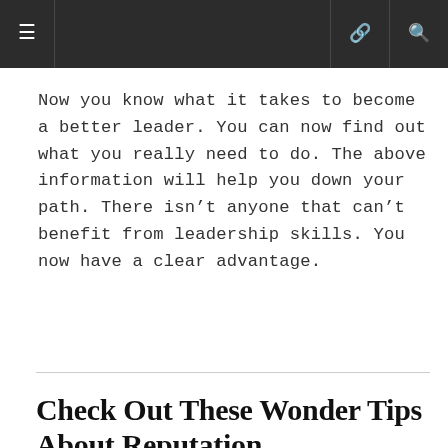≡  [nav icons]
Now you know what it takes to become a better leader. You can now find out what you really need to do. The above information will help you down your path. There isn't anyone that can't benefit from leadership skills. You now have a clear advantage.
Check Out These Wonder Tips About Reputation Management In The Article Below
By Michelle Morgan in Nonprofit Success
November 21, 2019